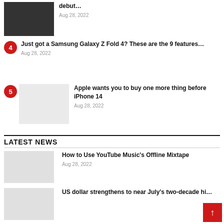[Figure (photo): Dark image of a crowd/performance scene, thumbnail]
debut…
Aug 28, 2022
4 — Just got a Samsung Galaxy Z Fold 4? These are the 9 features… — Aug 28, 2022
[Figure (photo): Light gray placeholder thumbnail]
5 — Apple wants you to buy one more thing before iPhone 14 — Aug 28, 2022
LATEST NEWS
[Figure (photo): Light gray placeholder thumbnail for latest news item]
How to Use YouTube Music's Offline Mixtape
Aug 28, 2022
[Figure (photo): Light gray placeholder thumbnail for second latest news item]
US dollar strengthens to near July's two-decade hi…